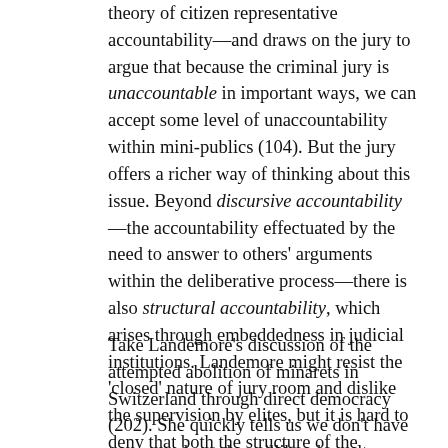theory of citizen representative accountability—and draws on the jury to argue that because the criminal jury is unaccountable in important ways, we can accept some level of unaccountability within mini-publics (104). But the jury offers a richer way of thinking about this issue. Beyond discursive accountability—the accountability effectuated by the need to answer to others' arguments within the deliberative process—there is also structural accountability, which arises through embeddedness in judicial institutions. Landemore might resist the 'closed' nature of jury room and dislike the supervision by elites, but it is hard to deny that both the structure of the deliberation and its overseers can get us successfully channeled deliberative energy, offering us a form of accountability that can be scaled.
Take Landemore's discussion of the attempted abolition of minarets in Switzerland through direct democracy (202). She quickly tells us we don't have to worry about these illiberal results because the Supreme Court there was having none of it. Yet rather than conclude that deliberation has to be embedded in some form of legal